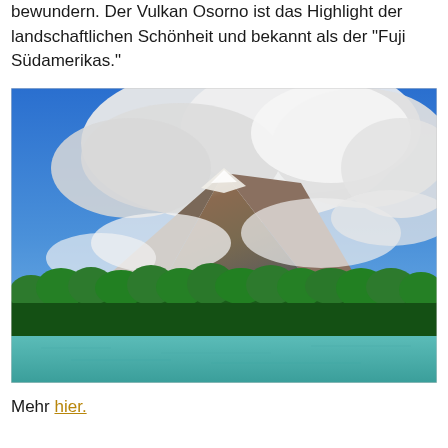bewundern. Der Vulkan Osorno ist das Highlight der landschaftlichen Schönheit und bekannt als der "Fuji Südamerikas."
[Figure (photo): Photograph of Volcan Osorno in Chile, showing the snow-capped volcanic peak partially shrouded in white clouds against a blue sky, with dense green forest in the foreground and a turquoise lake at the bottom.]
Mehr hier.